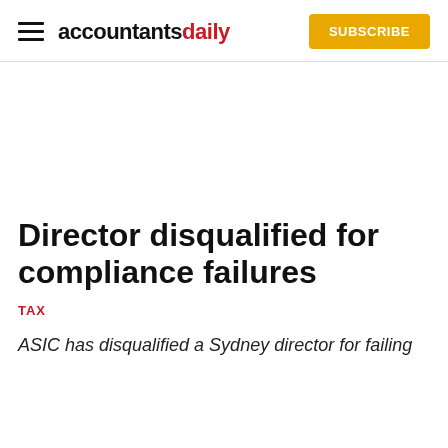accountantsdaily  SUBSCRIBE
Director disqualified for compliance failures
TAX
ASIC has disqualified a Sydney director for failing